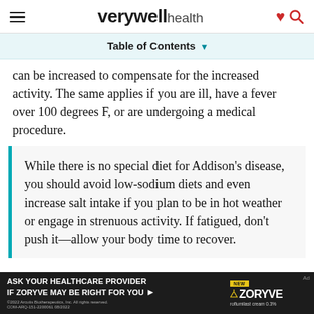verywell health
Table of Contents
can be increased to compensate for the increased activity. The same applies if you are ill, have a fever over 100 degrees F, or are undergoing a medical procedure.
While there is no special diet for Addison's disease, you should avoid low-sodium diets and even increase salt intake if you plan to be in hot weather or engage in strenuous activity. If fatigued, don't push it—allow your body time to recover.
[Figure (screenshot): Advertisement banner: Ask your healthcare provider if ZORYVE may be right for you. ZORYVE roflumilast cream 0.3%]